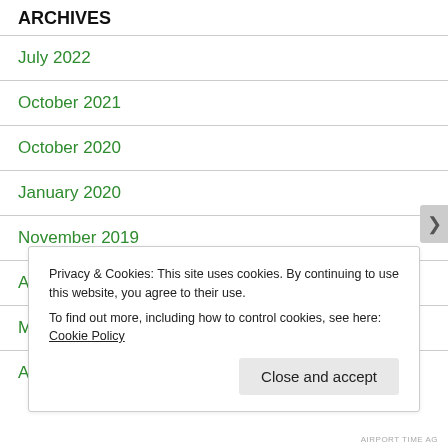ARCHIVES
July 2022
October 2021
October 2020
January 2020
November 2019
April 2019
March 2019
August 2018
Privacy & Cookies: This site uses cookies. By continuing to use this website, you agree to their use.
To find out more, including how to control cookies, see here: Cookie Policy
Close and accept